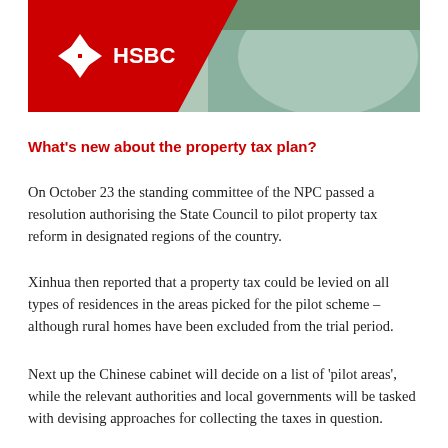[Figure (photo): HSBC bank building banner image with HSBC logo on red diagonal background and modern glass building exterior]
What's new about the property tax plan?
On October 23 the standing committee of the NPC passed a resolution authorising the State Council to pilot property tax reform in designated regions of the country.
Xinhua then reported that a property tax could be levied on all types of residences in the areas picked for the pilot scheme – although rural homes have been excluded from the trial period.
Next up the Chinese cabinet will decide on a list of 'pilot areas', while the relevant authorities and local governments will be tasked with devising approaches for collecting the taxes in question.
The Chinese cabinet will then submit its proposed list of trial